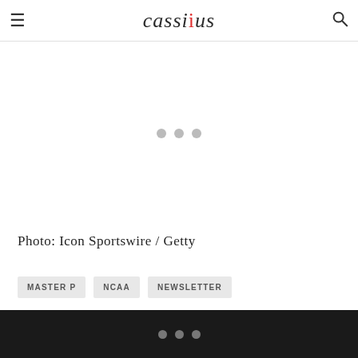≡ cassius 🔍
[Figure (other): Advertisement loading area with three gray dots indicating content loading]
Photo: Icon Sportswire / Getty
MASTER P
NCAA
NEWSLETTER